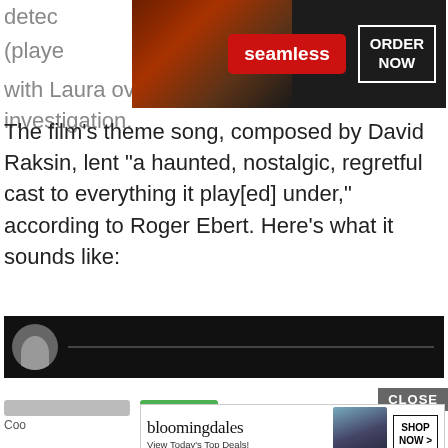detec...son (playe...sed with Laura over the course of the investigation.
[Figure (screenshot): Seamless food delivery advertisement banner with pizza image, red Seamless logo button, and ORDER NOW button on dark background]
The film’s theme song, composed by David Raksin, lent “a haunted, nostalgic, regretful cast to everything it play[ed] under,” according to Roger Ebert. Here’s what it sounds like:
[Figure (screenshot): Video embed showing a person speaking, dark background]
We use cookies on our website to give you the most relevant experience by remembering your preferences and repeat visits. By clicking “Accept”, you consent to the use of ALL the cookies.
Do not sell my personal information.
[Figure (screenshot): Bloomingdale's advertisement: View Today's Top Deals! with SHOP NOW button and woman in hat image. CLOSE button visible.]